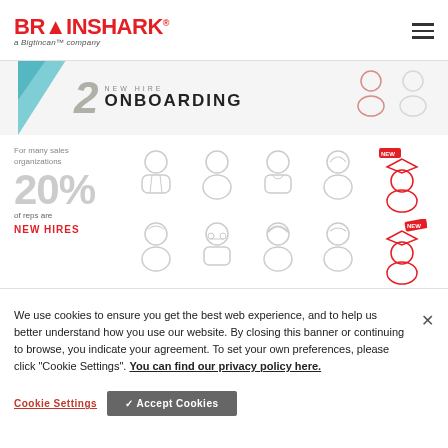BRAINSHARK a Bigtincan™ company
[Figure (infographic): New Hire Onboarding banner with number 2, teal geometric shape, and outline person icons]
[Figure (infographic): Infographic showing 'For many sales organizations 20% of reps are NEW HIRES' with a grid of 10 person icons, 2 highlighted as new hires in red]
We use cookies to ensure you get the best web experience, and to help us better understand how you use our website. By closing this banner or continuing to browse, you indicate your agreement. To set your own preferences, please click "Cookie Settings". You can find our privacy policy here.